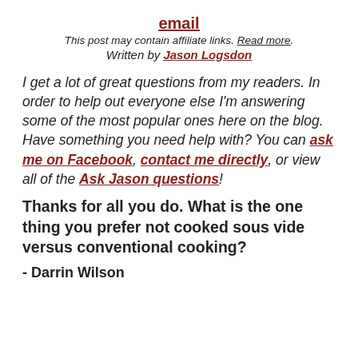email
This post may contain affiliate links. Read more.
Written by Jason Logsdon
I get a lot of great questions from my readers. In order to help out everyone else I'm answering some of the most popular ones here on the blog. Have something you need help with? You can ask me on Facebook, contact me directly, or view all of the Ask Jason questions!
Thanks for all you do. What is the one thing you prefer not cooked sous vide versus conventional cooking?
- Darrin Wilson